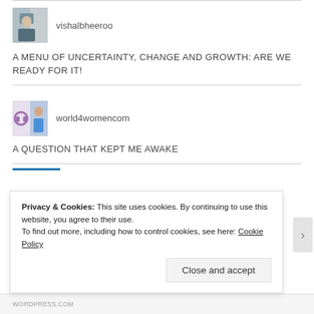[Figure (photo): Avatar photo of person at desk (vishalbheeroo)]
vishalbheeroo
A MENU OF UNCERTAINTY, CHANGE AND GROWTH: ARE WE READY FOR IT!
[Figure (photo): Avatar photo of woman (world4womencom)]
world4womencom
A QUESTION THAT KEPT ME AWAKE
Privacy & Cookies: This site uses cookies. By continuing to use this website, you agree to their use.
To find out more, including how to control cookies, see here: Cookie Policy
Close and accept